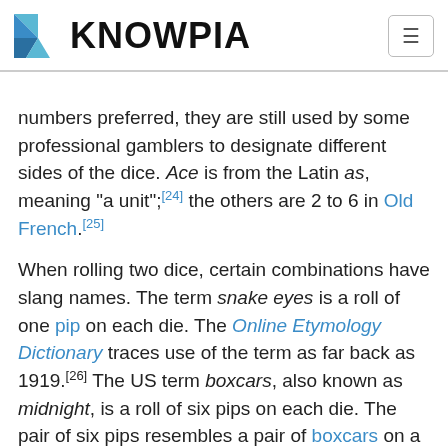KNOWPIA
numbers preferred, they are still used by some professional gamblers to designate different sides of the dice. Ace is from the Latin as, meaning "a unit";[24] the others are 2 to 6 in Old French.[25]
When rolling two dice, certain combinations have slang names. The term snake eyes is a roll of one pip on each die. The Online Etymology Dictionary traces use of the term as far back as 1919.[26] The US term boxcars, also known as midnight, is a roll of six pips on each die. The pair of six pips resembles a pair of boxcars on a freight train. Many rolls have names in the game of craps.
Unicode representation Edit